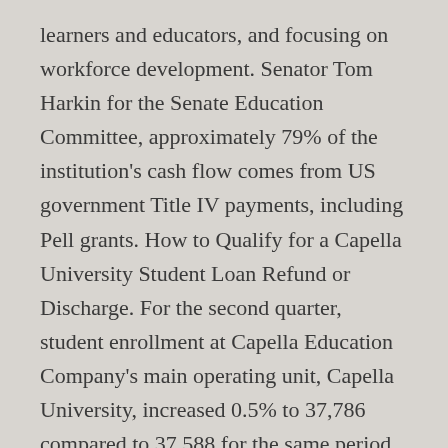learners and educators, and focusing on workforce development. Senator Tom Harkin for the Senate Education Committee, approximately 79% of the institution's cash flow comes from US government Title IV payments, including Pell grants. How to Qualify for a Capella University Student Loan Refund or Discharge. For the second quarter, student enrollment at Capella Education Company's main operating unit, Capella University, increased 0.5% to 37,786 compared to 37,588 for the same period in 2017. Capella University, Capella Tower, 225 South Sixth Street, Ninth Floor, Minneapolis, MN 55402. [3] Less than one percent are working on